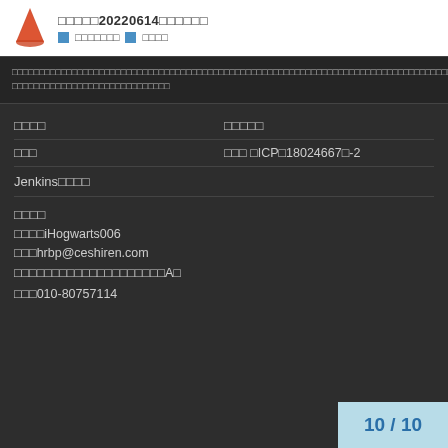□□□□□20220614□□□□□□
□□□□□□□□□□□□□□□□□□□□□□□□□□□□□□□□□□□□□□□□□□□□□□□□□□□□□□□□□□□□□□□□□□□□□□□□□□□□□□□□□□□□□□□□□□□□□□□□□□□□□□□□□□□□□□□□□□□□□□□□□□
□□□□ □□□□□
□□□ □□□ □ICP□18024667□-2
Jenkins□□□□
□□□□
□□□□iHogwarts006
□□□hrbp@ceshiren.com
□□□□□□□□□□□□□□□□□□□□A□
□□□010-80757114
10 / 10